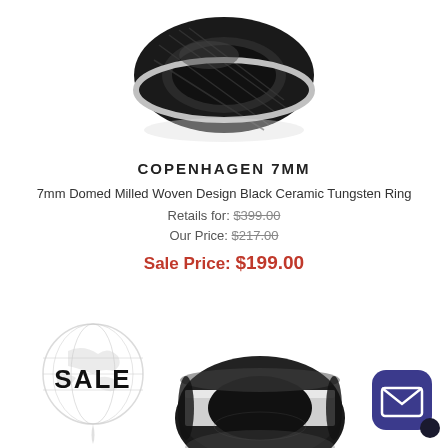[Figure (photo): Black ceramic tungsten ring with milled woven design, shown from an angle, positioned at top center]
COPENHAGEN 7MM
7mm Domed Milled Woven Design Black Ceramic Tungsten Ring
Retails for: $399.00
Our Price: $217.00
Sale Price: $199.00
[Figure (logo): Globe/world map watermark with SALE text overlay in bold black letters]
[Figure (photo): Black ceramic tungsten ring with silver/white center stripe, shown from an angle at bottom center]
[Figure (other): Dark purple rounded square mail/envelope button in bottom right corner]